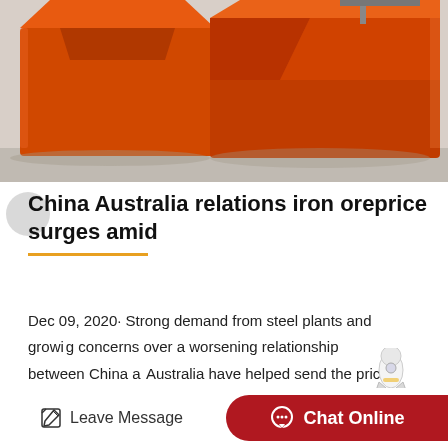[Figure (photo): Orange industrial iron ore containers or hoppers in a warehouse or factory setting]
China Australia relations iron oreprice surges amid
Dec 09, 2020· Strong demand from steel plants and growing concerns over a worsening relationship between China and Australia have helped send the price of iron ore to its highe ...
Leave Message   Chat Online